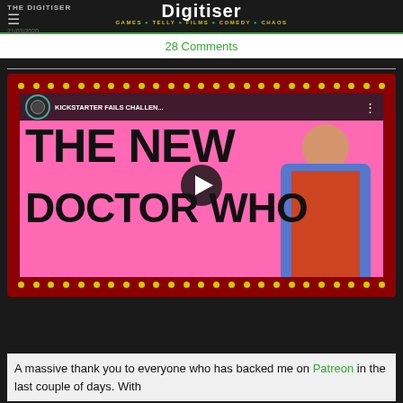THE DIGITISER | Digitiser | GAMES * TELLY * FILMS * COMEDY * CHAOS
28 Comments
[Figure (screenshot): YouTube video thumbnail showing 'KICKSTARTER FAILS CHALLEN...' with large text 'THE NEW DOCTOR WHO' on a pink background with marquee lights border, a person on the right side, and a play button overlay.]
A massive thank you to everyone who has backed me on Patreon in the last couple of days. With